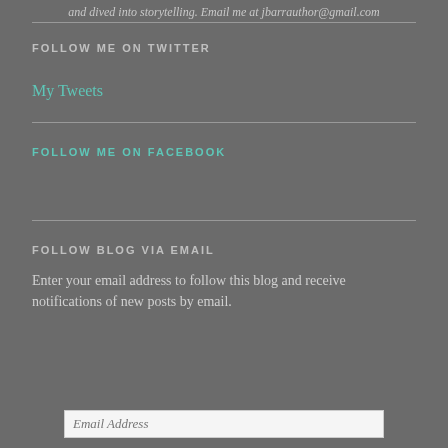and dived into storytelling. Email me at jbarrauthor@gmail.com
FOLLOW ME ON TWITTER
My Tweets
FOLLOW ME ON FACEBOOK
FOLLOW BLOG VIA EMAIL
Enter your email address to follow this blog and receive notifications of new posts by email.
Email Address